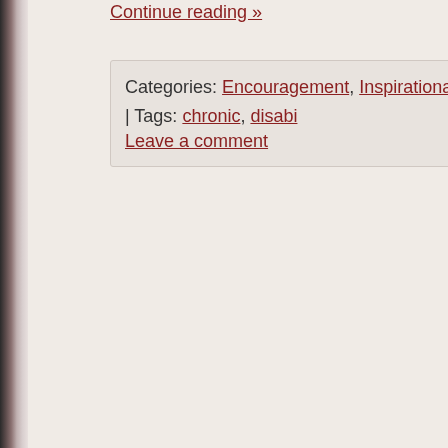Continue reading »
Categories: Encouragement, Inspirational | Tags: chronic, disabi… Leave a comment